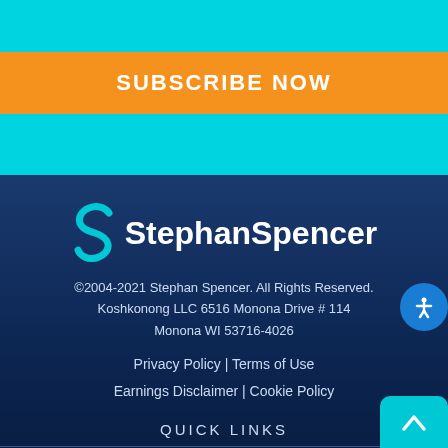SUBSCRIBE NOW
[Figure (logo): StephanSpencer logo with cyan S icon and white bold text]
©2004-2021 Stephan Spencer. All Rights Reserved. Koshkonong LLC 6516 Monona Drive # 114 Monona WI 53716-4026
Privacy Policy | Terms of Use Earnings Disclaimer | Cookie Policy
QUICK LINKS
Home
Blog